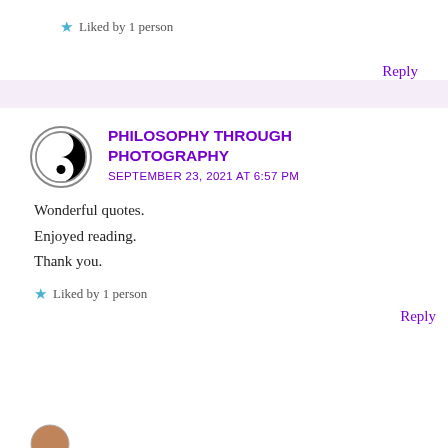★ Liked by 1 person
Reply
PHILOSOPHY THROUGH PHOTOGRAPHY
SEPTEMBER 23, 2021 AT 6:57 PM
Wonderful quotes.
Enjoyed reading.
Thank you.
★ Liked by 1 person
Reply